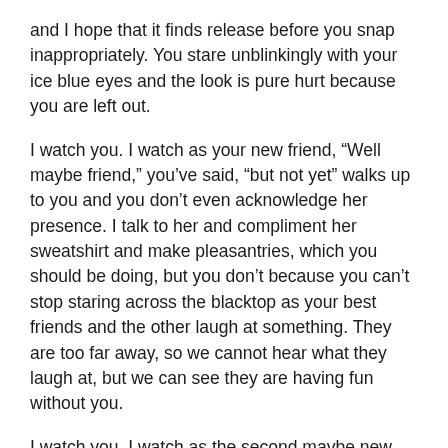and I hope that it finds release before you snap inappropriately.  You stare unblinkingly with your ice blue eyes and the look is pure hurt because you are left out.
I watch you.  I watch as your new friend, “Well maybe friend,” you’ve said, “but not yet” walks up to you and you don’t even acknowledge her presence.  I talk to her and compliment her sweatshirt and make pleasantries, which you should be doing, but you don’t because you can’t stop staring across the blacktop as your best friends and the other laugh at something.  They are too far away, so we cannot hear what they laugh at, but we can see they are having fun without you.
I watch you.  I watch as the second maybe new friend walks up and you ignore her too.  Opportunities surround you but you can’t see them because you want to be over there with them in their class.  You want the comfort of last year.  You want familiar.  You want to be inside the threesome again and not